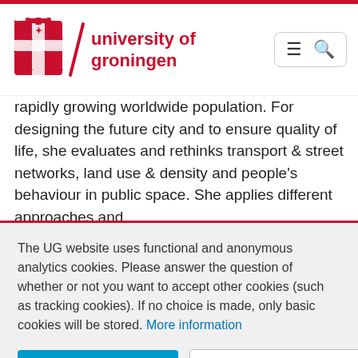[Figure (logo): University of Groningen logo with coat of arms, diagonal slash, and red text 'university of groningen']
rapidly growing worldwide population. For designing the future city and to ensure quality of life, she evaluates and rethinks transport & street networks, land use & density and people's behaviour in public space. She applies different approaches and
The UG website uses functional and anonymous analytics cookies. Please answer the question of whether or not you want to accept other cookies (such as tracking cookies). If no choice is made, only basic cookies will be stored. More information
Accept all cookies
Manage preferences